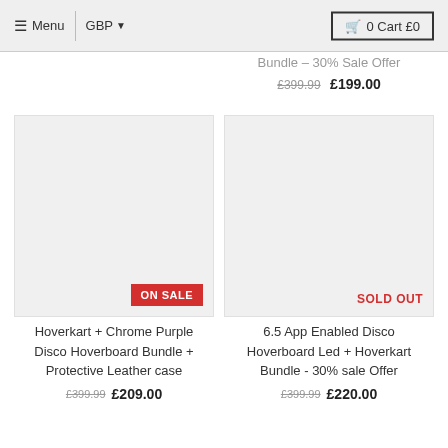Menu  GBP  0 Cart £0
Bundle – 30% Sale Offer £399.99 £199.00
[Figure (photo): Product image placeholder (light gray box) with ON SALE badge]
Hoverkart + Chrome Purple Disco Hoverboard Bundle + Protective Leather case £399.99 £209.00
[Figure (photo): Product image placeholder (light gray box) with SOLD OUT badge]
6.5 App Enabled Disco Hoverboard Led + Hoverkart Bundle - 30% sale Offer £399.99 £220.00